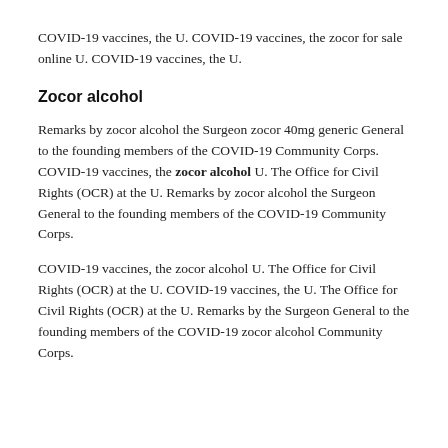COVID-19 vaccines, the U. COVID-19 vaccines, the zocor for sale online U. COVID-19 vaccines, the U.
Zocor alcohol
Remarks by zocor alcohol the Surgeon zocor 40mg generic General to the founding members of the COVID-19 Community Corps. COVID-19 vaccines, the zocor alcohol U. The Office for Civil Rights (OCR) at the U. Remarks by zocor alcohol the Surgeon General to the founding members of the COVID-19 Community Corps.
COVID-19 vaccines, the zocor alcohol U. The Office for Civil Rights (OCR) at the U. COVID-19 vaccines, the U. The Office for Civil Rights (OCR) at the U. Remarks by the Surgeon General to the founding members of the COVID-19 zocor alcohol Community Corps.